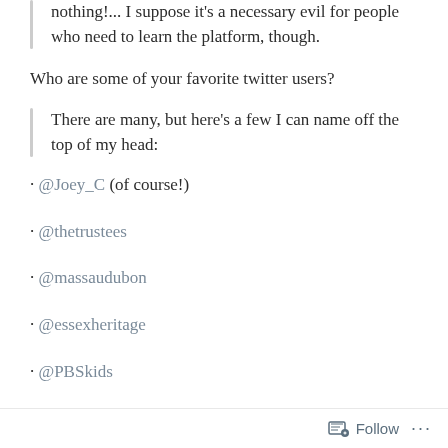nothing!... I suppose it's a necessary evil for people who need to learn the platform, though.
Who are some of your favorite twitter users?
There are many, but here's a few I can name off the top of my head:
· @Joey_C (of course!)
· @thetrustees
· @massaudubon
· @essexheritage
· @PBSkids
Follow ...